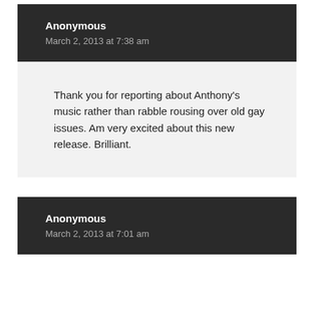Anonymous
March 2, 2013 at 7:38 am
Thank you for reporting about Anthony's music rather than rabble rousing over old gay issues. Am very excited about this new release. Brilliant.
Anonymous
March 2, 2013 at 7:01 am